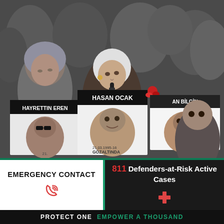[Figure (photo): Crowd of people at a protest or memorial holding up signs/posters with photos and names of missing or killed individuals. Visible signs read: HAYRETTIN EREN, HASAN OCAK, ORHAN BİLGİN, and GÖZALTINDA. A woman with white hair stands in the center holding the HASAN OCAK sign.]
EMERGENCY CONTACT
811 Defenders-at-Risk Active Cases
PROTECT ONE EMPOWER A THOUSAND